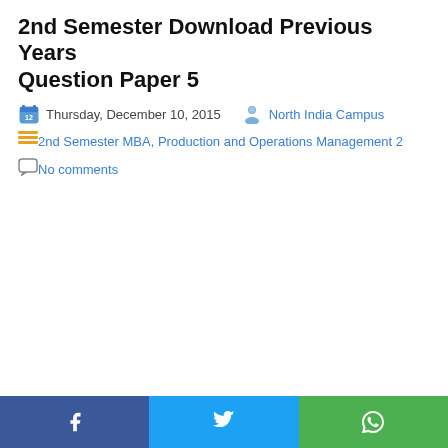2nd Semester Download Previous Years Question Paper 5
Thursday, December 10, 2015  North India Campus
2nd Semester MBA, Production and Operations Management 2
No comments